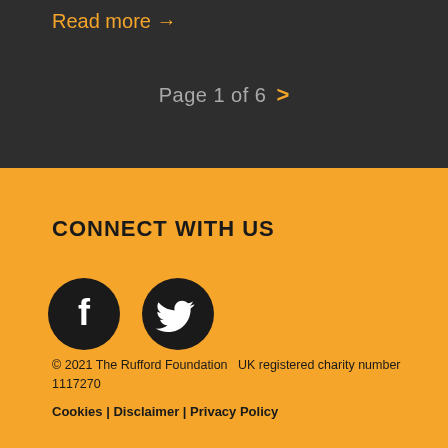Read more →
Page 1 of 6 >
CONNECT WITH US
[Figure (logo): Facebook icon - dark circle with white Facebook 'f' logo]
[Figure (logo): Twitter icon - dark circle with white Twitter bird logo]
© 2021 The Rufford Foundation  UK registered charity number 1117270
Cookies | Disclaimer | Privacy Policy